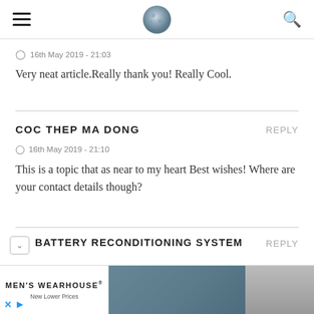Navigation header with hamburger menu, moon logo, and search icon
16th May 2019 - 21:03
Very neat article.Really thank you! Really Cool.
COC THEP MA DONG
REPLY
16th May 2019 - 21:10
This is a topic that as near to my heart Best wishes! Where are your contact details though?
BATTERY RECONDITIONING SYSTEM
REPLY
[Figure (photo): Advertisement banner for Men's Wearhouse showing a couple in formal wear and a man in a suit]